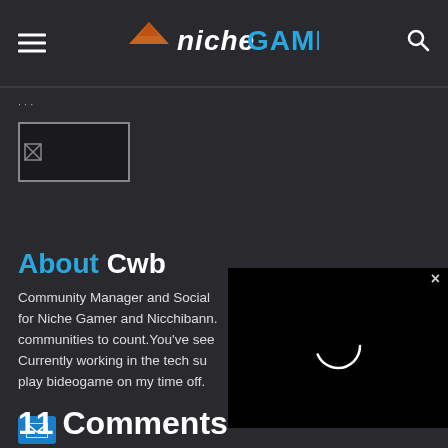Niche Gamer
[Figure (screenshot): Niche Gamer website header with hamburger menu, logo, and search icon on dark background]
[Figure (photo): Avatar image placeholder box with broken image icon]
About Cwb
Community Manager and Social for Niche Gamer and Nicchibann. communities to count.You've see Currently working in the tech su play bideogame on my time off.
[Figure (screenshot): Embedded video player overlay on dark background showing loading spinner]
[Figure (other): Email icon button (blue envelope)]
11 Comments